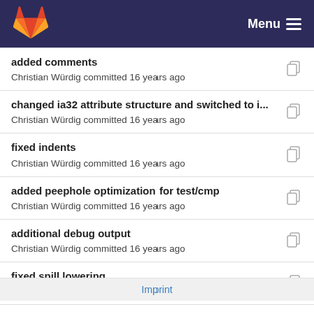GitLab Menu
added comments
Christian Würdig committed 16 years ago
changed ia32 attribute structure and switched to i...
Christian Würdig committed 16 years ago
fixed indents
Christian Würdig committed 16 years ago
added peephole optimization for test/cmp
Christian Würdig committed 16 years ago
additional debug output
Christian Würdig committed 16 years ago
fixed spill lowering
Christian Würdig committed 16 years ago
changed ia32 attribute structure and switched to i...
Christian Würdig committed 16 years ago
Imprint